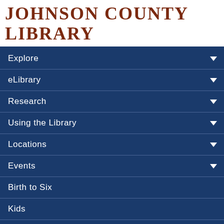Johnson County Library
Explore
eLibrary
Research
Using the Library
Locations
Events
Birth to Six
Kids
Teens
Search
Home » Teens » Teen and Staff Reviews » The Starless Sea